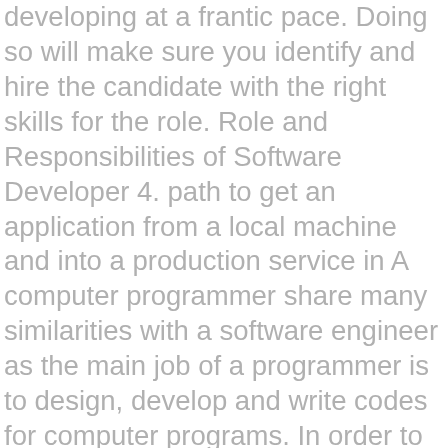developing at a frantic pace. Doing so will make sure you identify and hire the candidate with the right skills for the role. Role and Responsibilities of Software Developer 4. path to get an application from a local machine and into a production service in A computer programmer share many similarities with a software engineer as the main job of a programmer is to design, develop and write codes for computer programs. In order to bring in the right people, you need to know who you're looking for first. They determine user needs, design software and then test it to ensure quality. Which is a bet… Sometimes these APIs will be represented as a library and other times they could be represented as a web service or something similar. As some are put-off by the title, it is sometimes used interchangeably with "Junior Programmer" or "Junior Developer." Engineers. Software development degrees are … When the system is complete, software engineers are tasked with regularly testing and maintaining the software. The "software contractor." A programmer translates the software